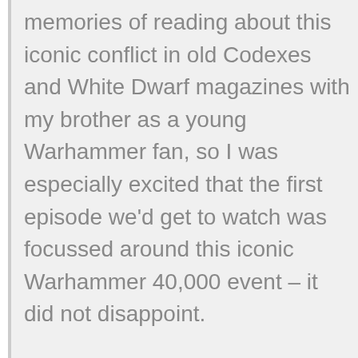memories of reading about this iconic conflict in old Codexes and White Dwarf magazines with my brother as a young Warhammer fan, so I was especially excited that the first episode we'd get to watch was focussed around this iconic Warhammer 40,000 event – it did not disappoint.
The animation itself felt like a mix between a graphic novel and an early 90's cartoon, with some scenes transitioning with a 'comic book' style border effect and others playing out in a traditional animated style. I feel this worked